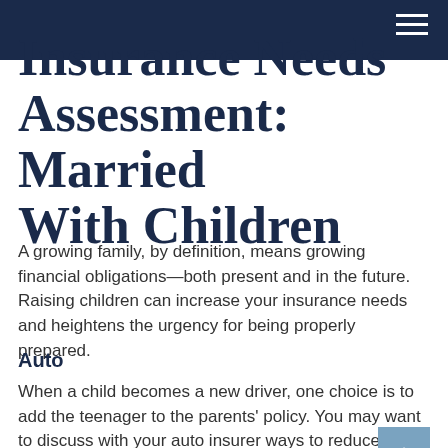Insurance Needs Assessment: Married With Children
Insurance Needs Assessment: Married With Children
A growing family, by definition, means growing financial obligations—both present and in the future. Raising children can increase your insurance needs and heightens the urgency for being properly prepared.
Auto
When a child becomes a new driver, one choice is to add the teenager to the parents' policy. You may want to discuss with your auto insurer ways to reduce the additional premium that accompanies a new driver.